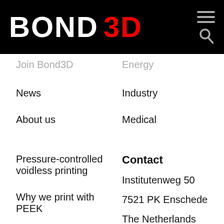[Figure (logo): Bond3D logo: BOND in white bold text and 3D in red bold text on black background, with hamburger menu and search icon on the right]
Join Bond3D
Energy
News
Industry
About us
Medical
Pressure-controlled voidless printing
Contact
Institutenweg 50
Why we print with PEEK
7521 PK Enschede
Formnext 2021
The Netherlands